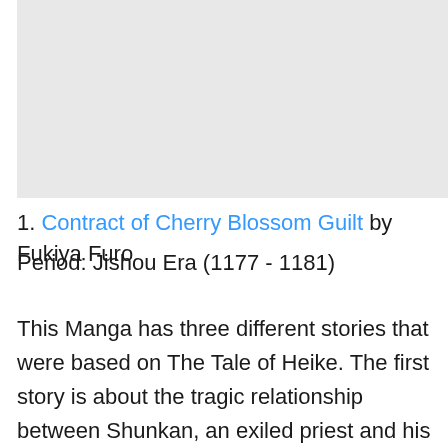[Figure (photo): Gray placeholder image area at the top of the page]
1. Contract of Cherry Blossom Guilt by Fukiya Furo
Period: Jishou Era (1177 - 1181)
This Manga has three different stories that were based on The Tale of Heike. The first story is about the tragic relationship between Shunkan, an exiled priest and his young disciple, Ariou. The second one revolves around the struggles of Minamoto no Yoshitsune and his loyal retainer,